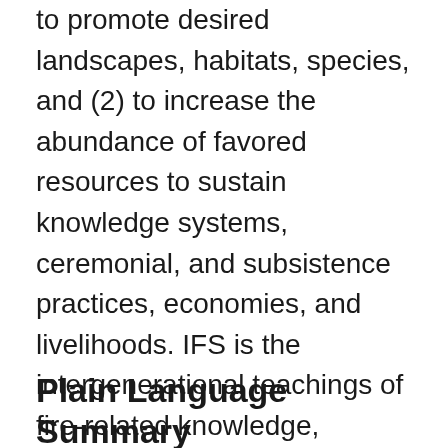to promote desired landscapes, habitats, species, and (2) to increase the abundance of favored resources to sustain knowledge systems, ceremonial, and subsistence practices, economies, and livelihoods. IFS is the intergenerational teachings of fire-related knowledge, beliefs, and practices among fire-dependent cultures regarding fire regimes, fire effects, and the role of cultural burning in fire-prone ecosystems and habitats.
Plain Language Summary